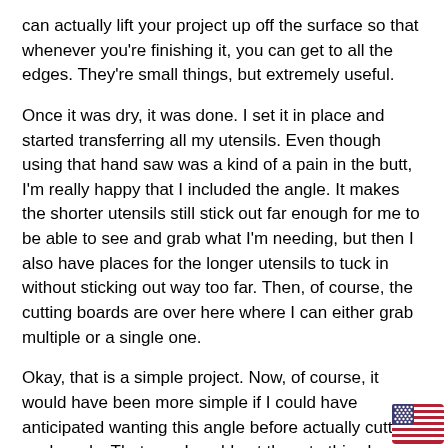can actually lift your project up off the surface so that whenever you're finishing it, you can get to all the edges. They're small things, but extremely useful.
Once it was dry, it was done. I set it in place and started transferring all my utensils. Even though using that hand saw was a kind of a pain in the butt, I'm really happy that I included the angle. It makes the shorter utensils still stick out far enough for me to be able to see and grab what I'm needing, but then I also have places for the longer utensils to tuck in without sticking out way too far. Then, of course, the cutting boards are over here where I can either grab multiple or a single one.
Okay, that is a simple project. Now, of course, it would have been more simple if I could have anticipated wanting this angle before actually cutting my boards. That way I could cut them to this shape before gluing them up, but I ended up making it work the way I wanted it. That's it for the video. I hope that you were able to get something out of it. Big thank you to Rockler for supporting my channel, and I will see everybody next ti…
[Figure (illustration): American flag emoji/icon in the bottom-right corner of the page]